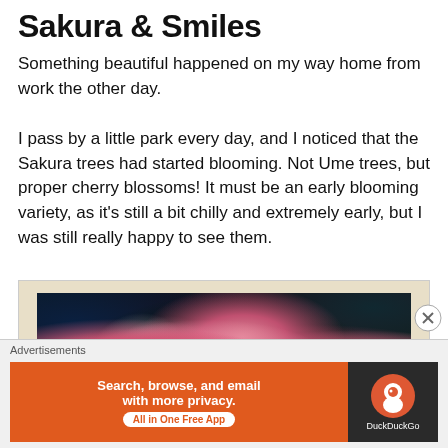Sakura & Smiles
Something beautiful happened on my way home from work the other day.
I pass by a little park every day, and I noticed that the Sakura trees had started blooming. Not Ume trees, but proper cherry blossoms! It must be an early blooming variety, as it's still a bit chilly and extremely early, but I was still really happy to see them.
[Figure (photo): Close-up photograph of pink sakura cherry blossom flowers with dark stamens, dark background with green foliage elements]
Advertisements
[Figure (screenshot): DuckDuckGo advertisement banner: orange left side reading 'Search, browse, and email with more privacy. All in One Free App' with pill-shaped button; dark right side with DuckDuckGo logo and name]